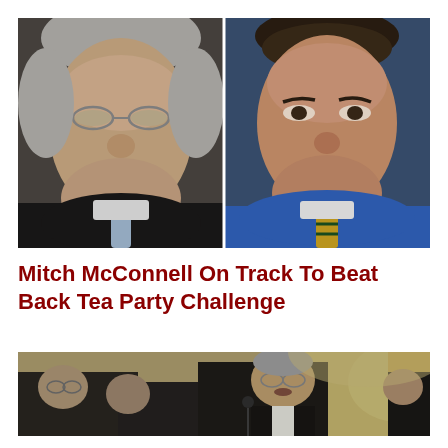[Figure (photo): Two men side by side: left shows an older white-haired man with glasses and dark suit with light blue tie (Mitch McConnell), right shows a younger man in blue shirt and gold-striped tie (Tea Party challenger)]
Mitch McConnell On Track To Beat Back Tea Party Challenge
[Figure (photo): Mitch McConnell speaking at a podium with other men in suits in the background, in an ornate legislative hall setting]